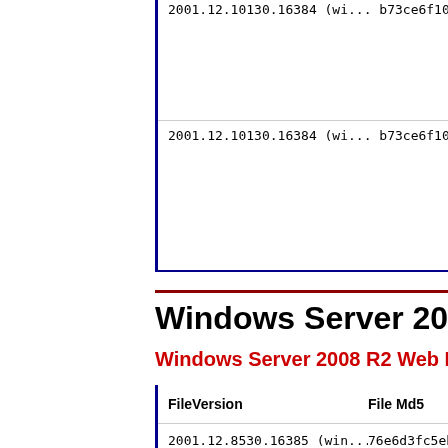| FileVersion | File Md5 |
| --- | --- |
| 2001.12.10130.16384 (wi... | b73ce6f1050eaffc5d1... |
| 2001.12.10130.16384 (wi... | b73ce6f1050eaffc5d1... |
Windows Server 2008
Windows Server 2008 R2 Web Edition
| FileVersion | File Md5 |
| --- | --- |
| 2001.12.8530.16385 (win... | 76e6d3fc5ebd05f4b03... |